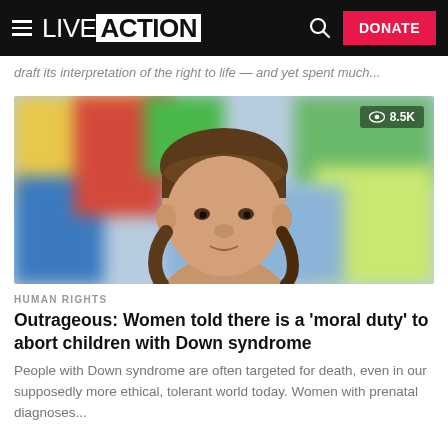LIVE ACTION — navigation header with hamburger menu, search icon, and DONATE button
draft its interpretation of the right to life — and yet spent much...
[Figure (photo): Close-up photo of a young girl with Down syndrome with brown hair in braids, against a colorful blurred background. View count overlay shows 8.5K.]
HUMAN RIGHTS
Outrageous: Women told there is a 'moral duty' to abort children with Down syndrome
People with Down syndrome are often targeted for death, even in our supposedly more ethical, tolerant world today. Women with prenatal diagnoses...